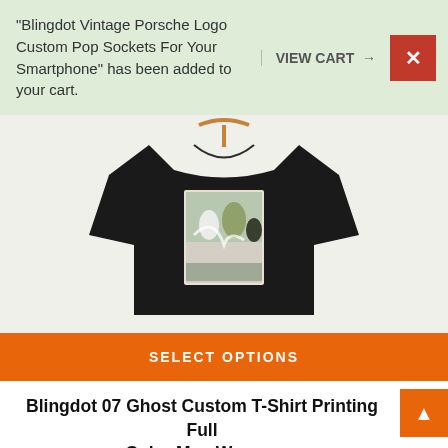"Blingdot Vintage Porsche Logo Custom Pop Sockets For Your Smartphone" has been added to your cart.
VIEW CART →
[Figure (photo): Black t-shirt with anime/ghost character artwork printed on the front, displayed on a hanger against a light background]
SELECT OPTIONS
Blingdot 07 Ghost Custom T-Shirt Printing Full Color Men Women
$37.00